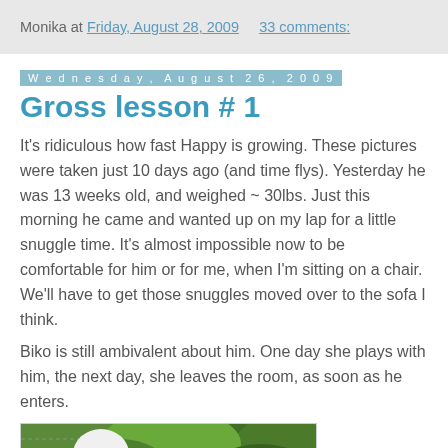Monika at Friday, August 28, 2009   33 comments:
Wednesday, August 26, 2009
Gross lesson # 1
It's ridiculous how fast Happy is growing. These pictures were taken just 10 days ago (and time flys). Yesterday he was 13 weeks old, and weighed ~ 30lbs. Just this morning he came and wanted up on my lap for a little snuggle time. It's almost impossible now to be comfortable for him or for me, when I'm sitting on a chair. We'll have to get those snuggles moved over to the sofa I think.
Biko is still ambivalent about him. One day she plays with him, the next day, she leaves the room, as soon as he enters.
[Figure (photo): A white dog photographed from behind in a garden setting with green foliage]